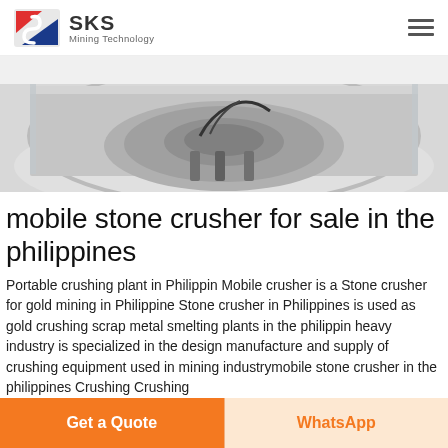SKS Mining Technology
[Figure (photo): Industrial stone crusher machine viewed from above, showing circular glass/metal enclosure with machinery inside, in a clean facility setting.]
mobile stone crusher for sale in the philippines
Portable crushing plant in Philippin Mobile crusher is a Stone crusher for gold mining in Philippine Stone crusher in Philippines is used as gold crushing scrap metal smelting plants in the philippin heavy industry is specialized in the design manufacture and supply of crushing equipment used in mining industrymobile stone crusher in the philippines Crushing Crushing